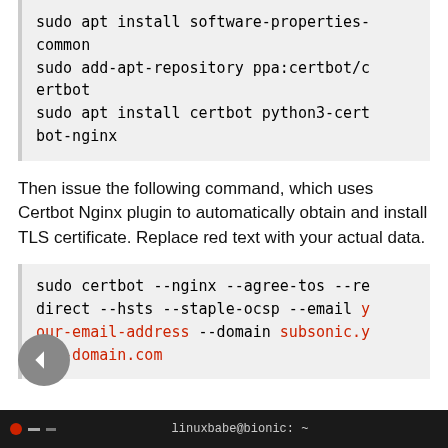sudo apt install software-properties-common
sudo add-apt-repository ppa:certbot/certbot
sudo apt install certbot python3-certbot-nginx
Then issue the following command, which uses Certbot Nginx plugin to automatically obtain and install TLS certificate. Replace red text with your actual data.
sudo certbot --nginx --agree-tos --redirect --hsts --staple-ocsp --email your-email-address --domain subsonic.your-domain.com
[Figure (screenshot): Terminal window showing linuxbabe@bionic: ~ prompt]